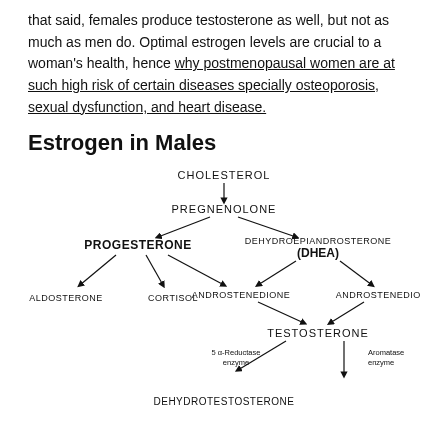that said, females produce testosterone as well, but not as much as men do. Optimal estrogen levels are crucial to a woman's health, hence why postmenopausal women are at such high risk of certain diseases specially osteoporosis, sexual dysfunction, and heart disease.
Estrogen in Males
[Figure (flowchart): Steroid hormone biosynthesis flowchart showing pathway from CHOLESTEROL → PREGNENOLONE, then branching to PROGESTERONE and DEHYDROEPIANDROSTERONE (DHEA). PROGESTERONE branches to ALDOSTERONE and CORTISOL, and also connects to ANDROSTENEDIONE. DHEA connects to ANDROSTENEDIONE and ANDROSTENEDIOL. ANDROSTENEDIONE and ANDROSTENEDIOL converge to TESTOSTERONE. TESTOSTERONE branches via 5α-Reductase enzyme to DEHYDROTESTOSTERONE and via Aromatase enzyme downward.]